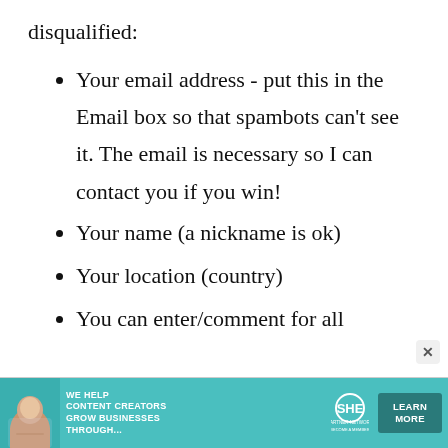disqualified:
Your email address - put this in the Email box so that spambots can't see it. The email is necessary so I can contact you if you win!
Your name (a nickname is ok)
Your location (country)
You can enter/comment for all
[Figure (infographic): Advertisement banner for SHE Media Partner Network with teal background, text: WE HELP CONTENT CREATORS GROW BUSINESSES THROUGH..., SHE logo, and LEARN MORE button]